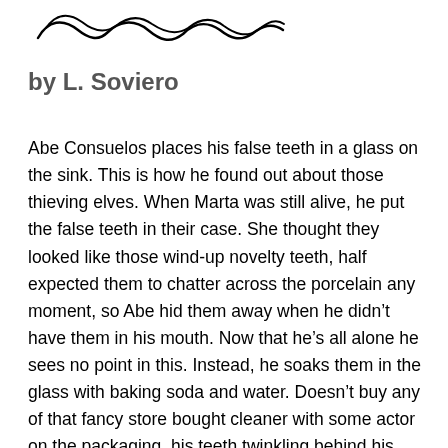[Figure (illustration): Decorative stylized wave or scroll illustration at the top of the page, rendered in black ink.]
by L. Soviero
Abe Consuelos places his false teeth in a glass on the sink. This is how he found out about those thieving elves. When Marta was still alive, he put the false teeth in their case. She thought they looked like those wind-up novelty teeth, half expected them to chatter across the porcelain any moment, so Abe hid them away when he didn’t have them in his mouth. Now that he’s all alone he sees no point in this. Instead, he soaks them in the glass with baking soda and water. Doesn’t buy any of that fancy store bought cleaner with some actor on the packaging, his teeth twinkling behind his Tom Selleck mustache. No, Abe does not fall for any of that nonsense.